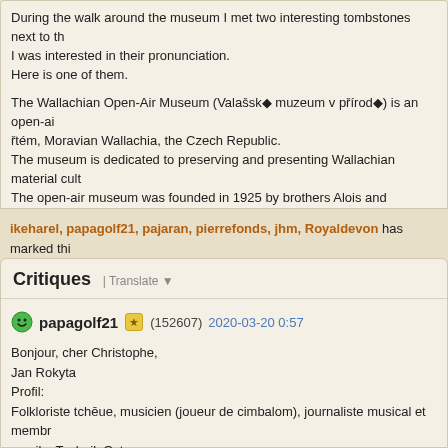During the walk around the museum I met two interesting tombstones next to th... I was interested in their pronunciation. Here is one of them.
The Wallachian Open-Air Museum (Valašské muzeum v přírodě) is an open-ai... řtém, Moravian Wallachia, the Czech Republic. The museum is dedicated to preserving and presenting Wallachian material cult... The open-air museum was founded in 1925 by brothers Alois and Bohumíl Jaro... It is the second oldest and largest open-air museum in the Czech Republic.
ikeharel, papagolf21, pajaran, pierrefonds, jhm, Royaldevon has marked thi...
Critiques | Translate
papagolf21 (152607) 2020-03-20 0:57
Bonjour, cher Christophe,
Jan Rokyta
Profil:
Folkloriste tchēue, musicien (joueur de cimbalom), journaliste musical et memb...
muzika Technik Ostrava.
Intēessante prise de vue.
Amitiē.
Philippe